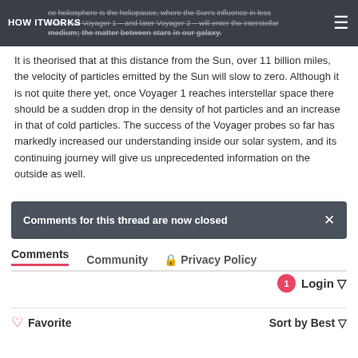HOW IT WORKS
ce heliosphere is the heliopause, where the Sun's influence in less more that Voyager 1 – and later Voyager 2 – will enter the interstellar medium; the matter between stars in our galaxy.
It is theorised that at this distance from the Sun, over 11 billion miles, the velocity of particles emitted by the Sun will slow to zero. Although it is not quite there yet, once Voyager 1 reaches interstellar space there should be a sudden drop in the density of hot particles and an increase in that of cold particles. The success of the Voyager probes so far has markedly increased our understanding inside our solar system, and its continuing journey will give us unprecedented information on the outside as well.
Comments for this thread are now closed
Comments  Community  🔒 Privacy Policy
1  Login
♡ Favorite  Sort by Best